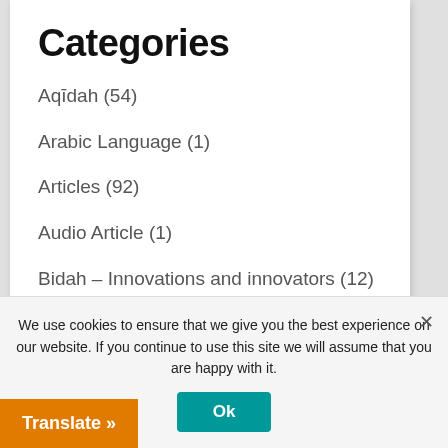Categories
Aqīdah (54)
Arabic Language (1)
Articles (92)
Audio Article (1)
Bidah – Innovations and innovators (12)
Biography of the Scholars and their Students (43)
Classes (3)
Contact (1)
We use cookies to ensure that we give you the best experience on our website. If you continue to use this site we will assume that you are happy with it.
Ok
Translate »